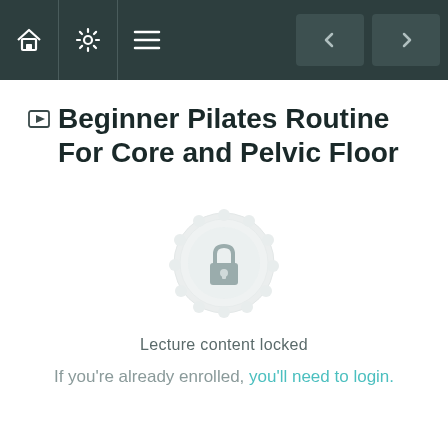Navigation bar with home, settings, menu icons and prev/next arrows
Beginner Pilates Routine For Core and Pelvic Floor
[Figure (illustration): A circular mandala/badge with a padlock icon in the center, light grey color, representing locked content]
Lecture content locked
If you're already enrolled, you'll need to login.